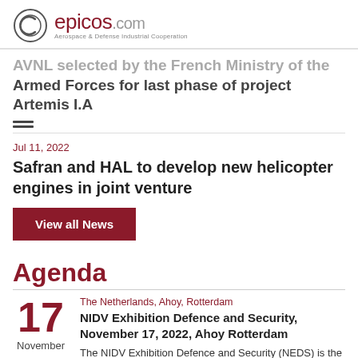epicos.com — Aerospace & Defense Industrial Cooperation
AVNL selected by the French Ministry of the Armed Forces for last phase of project Artemis I.A
Jul 11, 2022
Safran and HAL to develop new helicopter engines in joint venture
View all News
Agenda
The Netherlands, Ahoy, Rotterdam
NIDV Exhibition Defence and Security, November 17, 2022, Ahoy Rotterdam
The NIDV Exhibition Defence and Security (NEDS) is the annual event for the Defence